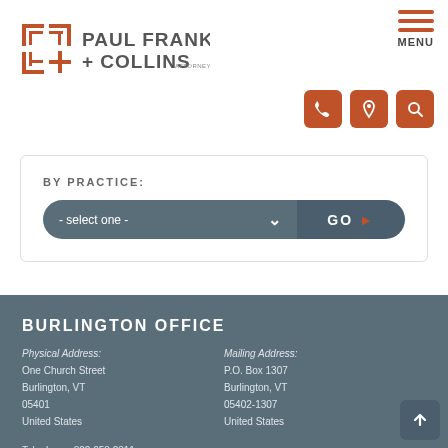[Figure (logo): Paul Frank + Collins Attorneys law firm logo with geometric icon in orange/brown on left and firm name in grey text on right]
[Figure (infographic): Hamburger menu icon (three horizontal orange lines) with MENU label below, and three orange icon buttons (phone, location pin, search)]
BY PRACTICE:
- select one -
GO
BURLINGTON OFFICE
Physical Address:
One Church Street
Burlington, VT
05401
United States
Mailing Address:
P.O. Box 1307
Burlington, VT
05402-1307
United States
Telephone: 802.658.2311